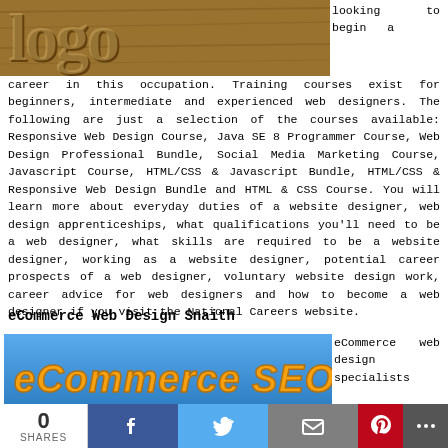[Figure (photo): Wooden letter tiles spelling 'logo' or similar text, brown textured background]
looking to begin a career in this occupation. Training courses exist for beginners, intermediate and experienced web designers. The following are just a selection of the courses available: Responsive Web Design Course, Java SE 8 Programmer Course, Web Design Professional Bundle, Social Media Marketing Course, Javascript Course, HTML/CSS & Javascript Bundle, HTML/CSS & Responsive Web Design Bundle and HTML & CSS Course. You will learn more about everyday duties of a website designer, web design apprenticeships, what qualifications you'll need to be a web designer, what skills are required to be a website designer, working as a website designer, potential career prospects of a web designer, voluntary website design work, career advice for web designers and how to become a web designer if you visit the National Careers website.
eCommerce Web Design Snaith
[Figure (photo): eCommerce SEO text on blue background]
eCommerce web design specialists
By using this website you are agreeing
0 SHARES [Facebook] [Twitter] [Email] [Pinterest] [More]